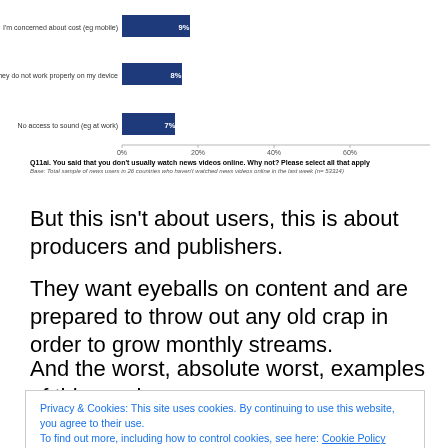[Figure (bar-chart): ]
Q11ai. You said that you don't usually watch news videos online. Why not? Please select all that apply
Base: Total sample of news users in 26 countries who haven't watched news videos online in the last week (n= 53314)
But this isn't about users, this is about producers and publishers.
They want eyeballs on content and are prepared to throw out any old crap in order to grow monthly streams.
And the worst, absolute worst, examples of this can be
Privacy & Cookies: This site uses cookies. By continuing to use this website, you agree to their use.
To find out more, including how to control cookies, see here: Cookie Policy
Close and accept
Journalists have flocked to make live videos watched by